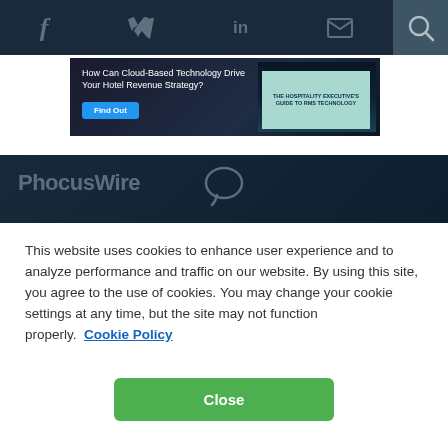Navigation bar with social icons (Facebook, Twitter, LinkedIn, Email) and search icon
[Figure (infographic): Advertisement banner: 'How Can Cloud-Based Technology Drive Your Hotel Revenue Strategy?' with Find Out button and book image showing 'THE HOSPITALITY EXECUTIVE'S GUIDE TO RMS TECHNOLOGY']
[Figure (logo): PhocusWire logo with speech bubble icon on dark navy background]
This website uses cookies to enhance user experience and to analyze performance and traffic on our website. By using this site, you agree to the use of cookies. You may change your cookie settings at any time, but the site may not function properly.  Cookie Policy
Close